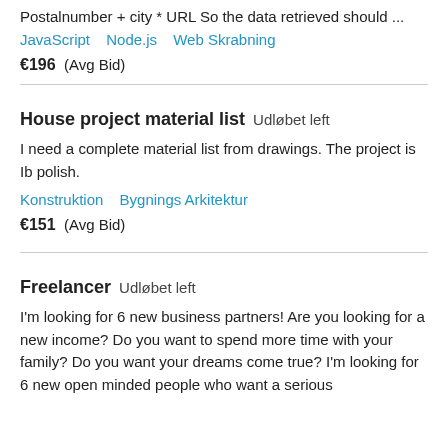Postalnumber + city * URL So the data retrieved should ...
JavaScript   Node.js   Web Skrabning
€196  (Avg Bid)
House project material list   Udløbet left
I need a complete material list from drawings. The project is Ib polish.
Konstruktion   Bygnings Arkitektur
€151  (Avg Bid)
Freelancer   Udløbet left
I'm looking for 6 new business partners! Are you looking for a new income? Do you want to spend more time with your family? Do you want your dreams come true? I'm looking for 6 new open minded people who want a serious